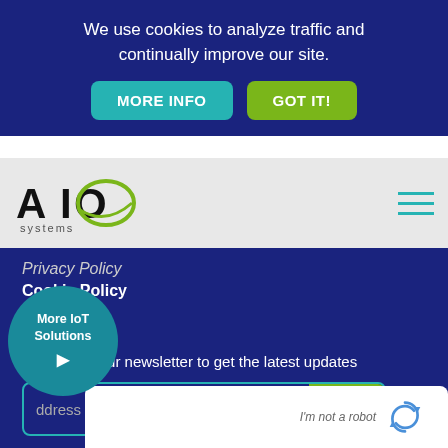We use cookies to analyze traffic and continually improve our site.
MORE INFO
GOT IT!
[Figure (logo): AIO Systems logo with green circular swoosh element and black text]
Privacy Policy
Cookie Policy
SIGN UP
Sign up for our newsletter to get the latest updates
GO
More IoT Solutions